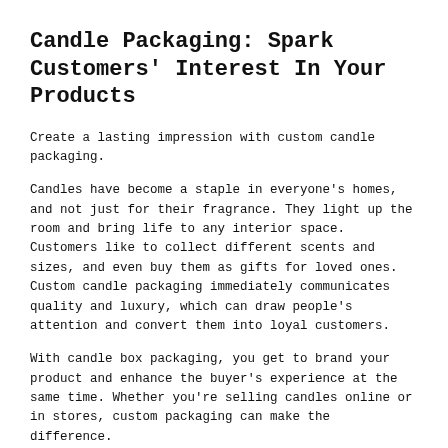Candle Packaging: Spark Customers' Interest In Your Products
Create a lasting impression with custom candle packaging.
Candles have become a staple in everyone's homes, and not just for their fragrance. They light up the room and bring life to any interior space. Customers like to collect different scents and sizes, and even buy them as gifts for loved ones. Custom candle packaging immediately communicates quality and luxury, which can draw people's attention and convert them into loyal customers.
With candle box packaging, you get to brand your product and enhance the buyer's experience at the same time. Whether you're selling candles online or in stores, custom packaging can make the difference.
NextDayFlyers is the leading online printer for custom packaging you can use on any type of product. Our website lets you create luxury candle packaging that's tailored to your requirements.